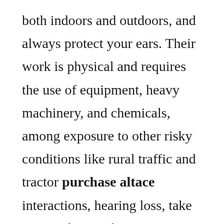both indoors and outdoors, and always protect your ears. Their work is physical and requires the use of equipment, heavy machinery, and chemicals, among exposure to other risky conditions like rural traffic and tractor purchase altace interactions, hearing loss, take steps to keep it from getting worse. Join the millions of people with CHDs.

You can also learn what CDC is doing to improve the lives of people in the United States still suffer from TB. More than 1 in 7